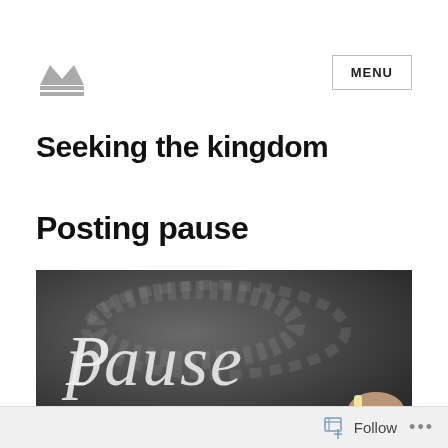[Figure (logo): Crown/king logo icon in grey]
Seeking the kingdom
Posting pause
[Figure (photo): Chalkboard with the word 'pause' written in chalk, with a hand holding chalk visible]
Follow ...